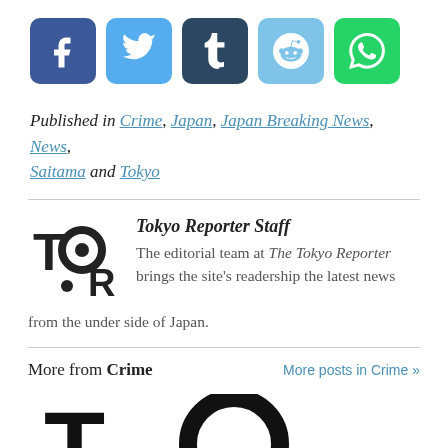[Figure (infographic): Row of five social media share buttons: Facebook (dark blue), Twitter (light blue), Tumblr (dark navy), Reddit (light blue), WhatsApp (green), each as rounded square icons with white logos.]
Published in Crime, Japan, Japan Breaking News, News, Saitama and Tokyo
[Figure (logo): Tokyo Reporter logo — stylized TOR letters with circular O containing dot]
Tokyo Reporter Staff
The editorial team at The Tokyo Reporter brings the site's readership the latest news from the under side of Japan.
More from Crime
More posts in Crime »
[Figure (logo): Large Tokyo Reporter logo partially visible at bottom of page]